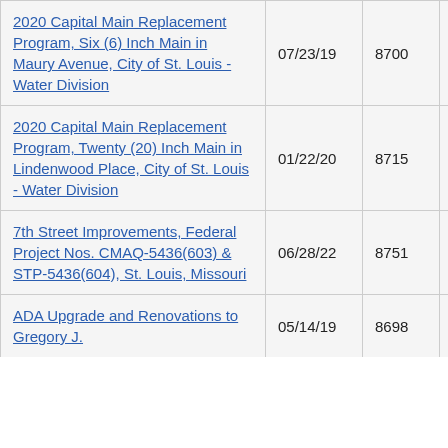| Project Name | Date | Number | Status |
| --- | --- | --- | --- |
| 2020 Capital Main Replacement Program, Six (6) Inch Main in Maury Avenue, City of St. Louis - Water Division | 07/23/19 | 8700 | Pro |
| 2020 Capital Main Replacement Program, Twenty (20) Inch Main in Lindenwood Place, City of St. Louis - Water Division | 01/22/20 | 8715 | Pro |
| 7th Street Improvements, Federal Project Nos. CMAQ-5436(603) & STP-5436(604), St. Louis, Missouri | 06/28/22 | 8751 | Pro |
| ADA Upgrade and Renovations to Gregory J. | 05/14/19 | 8698 | Pro |